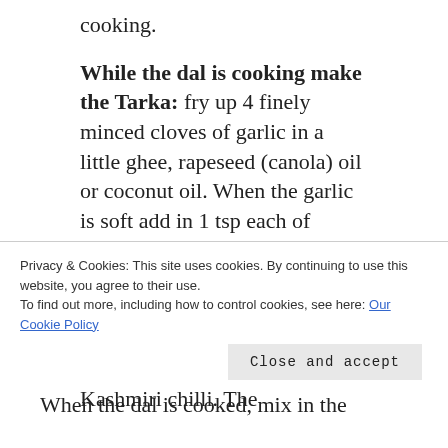cooking.
While the dal is cooking make the Tarka: fry up 4 finely minced cloves of garlic in a little ghee, rapeseed (canola) oil or coconut oil. When the garlic is soft add in 1 tsp each of ground coriander, ground cumin and ground turmeric; ¼ tsp ground cloves, ½ tsp ground fenugreek, ½ tsp asoefoetida powder and ¼ tsp ground Kashmiri chilli. The
Privacy & Cookies: This site uses cookies. By continuing to use this website, you agree to their use.
To find out more, including how to control cookies, see here: Our Cookie Policy
Close and accept
When the dal is cooked, mix in the